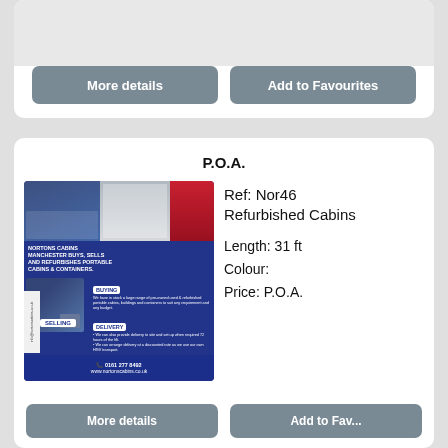[Figure (screenshot): Partial top card with More details and Add to Favourites buttons]
P.O.A.
[Figure (photo): Nortons Cabins advertisement image showing portable cabins and containers for sale in Manchester]
Ref: Nor46
Refurbished Cabins

Length: 31 ft
Colour:
Price: P.O.A.
[Figure (screenshot): Partial bottom More details and Add to Favourites buttons]